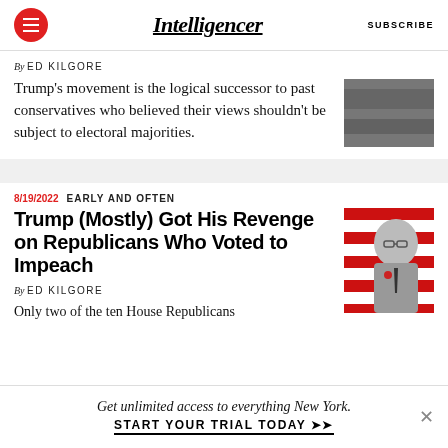Intelligencer  SUBSCRIBE
By ED KILGORE
Trump's movement is the logical successor to past conservatives who believed their views shouldn't be subject to electoral majorities.
8/19/2022  EARLY AND OFTEN
Trump (Mostly) Got His Revenge on Republicans Who Voted to Impeach
By ED KILGORE
Only two of the ten House Republicans
Get unlimited access to everything New York.  START YOUR TRIAL TODAY ➤➤